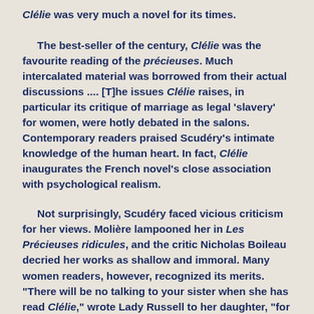Clélie was very much a novel for its times.

The best-seller of the century, Clélie was the favourite reading of the précieuses. Much intercalated material was borrowed from their actual discussions .... [T]he issues Clélie raises, in particular its critique of marriage as legal 'slavery' for women, were hotly debated in the salons. Contemporary readers praised Scudéry's intimate knowledge of the human heart. In fact, Clélie inaugurates the French novel's close association with psychological realism.
Not surprisingly, Scudéry faced vicious criticism for her views. Molière lampooned her in Les Précieuses ridicules, and the critic Nicholas Boileau decried her works as shallow and immoral. Many women readers, however, recognized its merits. "There will be no talking to your sister when she has read Clélie," wrote Lady Russell to her daughter, "for the wise folks say it is the most improving book which can be read." In his